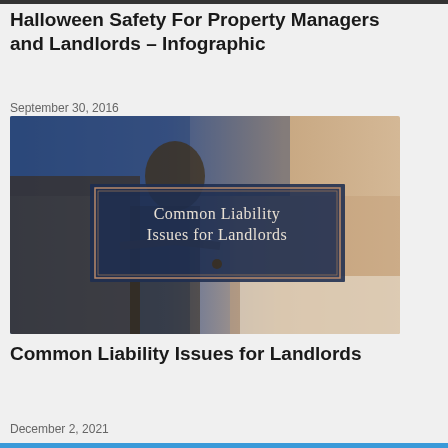Halloween Safety For Property Managers and Landlords – Infographic
September 30, 2016
[Figure (photo): Photo of a Lady Justice bronze statue in the foreground with a person signing a document blurred in the background. Overlaid is a dark navy blue box with text reading 'Common Liability Issues for Landlords' in white serif font with a gold/rose border.]
Common Liability Issues for Landlords
December 2, 2021